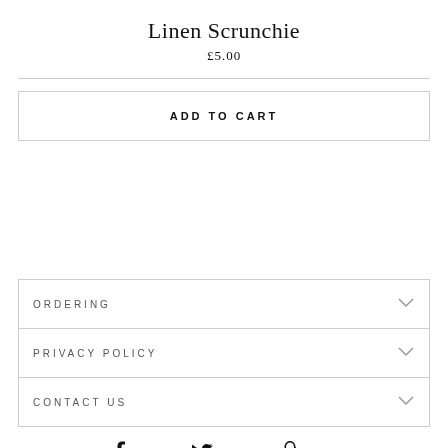Linen Scrunchie
£5.00
ADD TO CART
ORDERING
PRIVACY POLICY
CONTACT US
Share  Tweet  Pin it